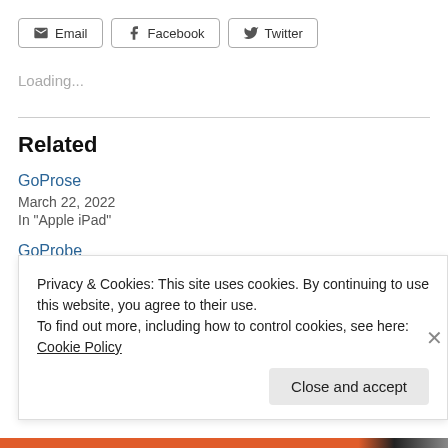[Figure (other): Row of share buttons: Email, Facebook, Twitter with icons]
Loading...
Related
GoProse
March 22, 2022
In "Apple iPad"
GoProbe
Privacy & Cookies: This site uses cookies. By continuing to use this website, you agree to their use.
To find out more, including how to control cookies, see here: Cookie Policy
Close and accept